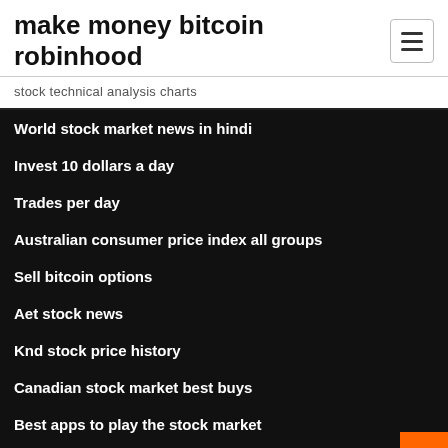make money bitcoin robinhood
stock technical analysis charts
World stock market news in hindi
Invest 10 dollars a day
Trades per day
Australian consumer price index all groups
Sell bitcoin options
Aet stock news
Knd stock price history
Canadian stock market best buys
Best apps to play the stock market
Forex charts uk